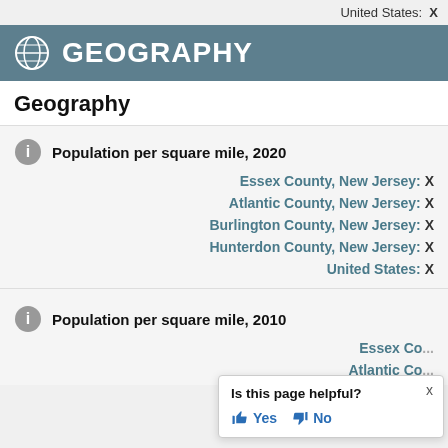United States: X
GEOGRAPHY
Geography
Population per square mile, 2020
Essex County, New Jersey: X
Atlantic County, New Jersey: X
Burlington County, New Jersey: X
Hunterdon County, New Jersey: X
United States: X
Population per square mile, 2010
Essex Co...
Atlantic Co...
Is this page helpful? Yes No